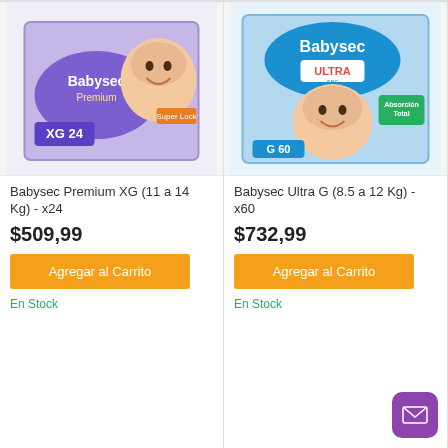[Figure (photo): Babysec Premium XG diaper package, purple color, showing XG 24 units, with baby photo]
Babysec Premium XG (11 a 14 Kg) - x24
$509,99
Agregar al Carrito
En Stock
[Figure (photo): Babysec Ultra G diaper package, blue color, showing G 60 units, with baby photo]
Babysec Ultra G (8.5 a 12 Kg) - x60
$732,99
Agregar al Carrito
En Stock